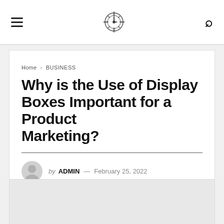Navigation bar with hamburger menu, compass logo, and search icon
Home > BUSINESS
Why is the Use of Display Boxes Important for a Product Marketing?
by ADMIN — February 25, 2022